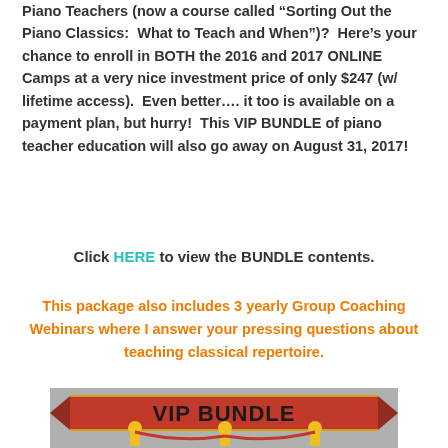Piano Teachers (now a course called “Sorting Out the Piano Classics:  What to Teach and When”)?  Here’s your chance to enroll in BOTH the 2016 and 2017 ONLINE Camps at a very nice investment price of only $247 (w/ lifetime access).  Even better…. it too is available on a payment plan, but hurry!  This VIP BUNDLE of piano teacher education will also go away on August 31, 2017!
Click HERE to view the BUNDLE contents.
This package also includes 3 yearly Group Coaching Webinars where I answer your pressing questions about teaching classical repertoire.
[Figure (illustration): VIP BUNDLE banner graphic with red ribbon banner showing 'VIP BUNDLE' text in bold black letters on a red/orange banner, with a gray background showing yellow rope stanchions with red velvet ropes]